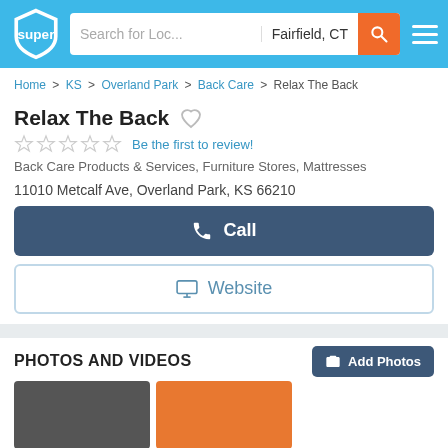Super — Search for Loc... | Fairfield, CT
Home > KS > Overland Park > Back Care > Relax The Back
Relax The Back
Be the first to review!
Back Care Products & Services, Furniture Stores, Mattresses
11010 Metcalf Ave, Overland Park, KS 66210
Call
Website
PHOTOS AND VIDEOS
Add Photos